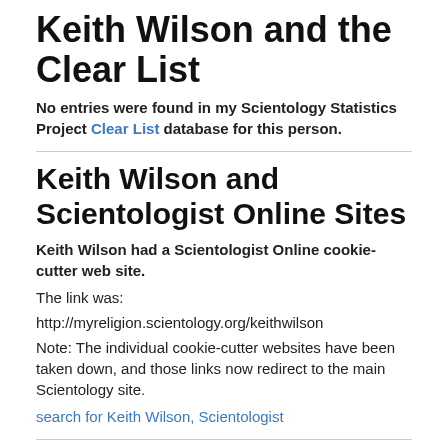Keith Wilson and the Clear List
No entries were found in my Scientology Statistics Project Clear List database for this person.
Keith Wilson and Scientologist Online Sites
Keith Wilson had a Scientologist Online cookie-cutter web site.
The link was:
http://myreligion.scientology.org/keithwilson
Note: The individual cookie-cutter websites have been taken down, and those links now redirect to the main Scientology site.
search for Keith Wilson, Scientologist
Keith Wilson and WISE